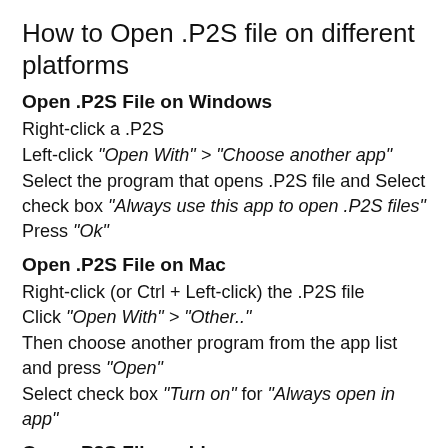How to Open .P2S file on different platforms
Open .P2S File on Windows
Right-click a .P2S
Left-click "Open With" > "Choose another app"
Select the program that opens .P2S file and Select check box "Always use this app to open .P2S files" Press "Ok"
Open .P2S File on Mac
Right-click (or Ctrl + Left-click) the .P2S file
Click "Open With" > "Other.."
Then choose another program from the app list and press "Open"
Select check box "Turn on" for "Always open in app"
Open .P2S File on Linux
Right click on the .P2S file, choose "Open with" and select a